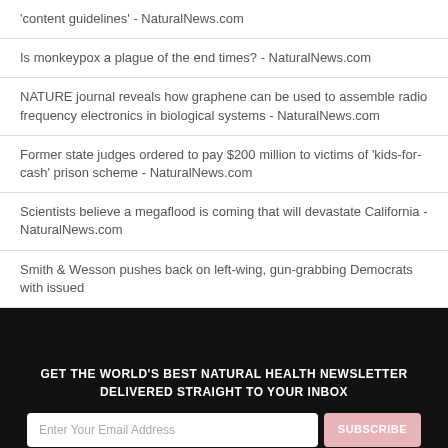'content guidelines' - NaturalNews.com
Is monkeypox a plague of the end times? - NaturalNews.com
NATURE journal reveals how graphene can be used to assemble radio frequency electronics in biological systems - NaturalNews.com
Former state judges ordered to pay $200 million to victims of 'kids-for-cash' prison scheme - NaturalNews.com
Scientists believe a megaflood is coming that will devastate California - NaturalNews.com
Smith & Wesson pushes back on left-wing, gun-grabbing Democrats with issued
GET THE WORLD'S BEST NATURAL HEALTH NEWSLETTER DELIVERED STRAIGHT TO YOUR INBOX
Enter Your Email Address
SUBSCRIBE
BY CONTINUING TO BROWSE OUR SITE YOU AGREE TO OUR USE OF COOKIES AND OUR PRIVACY POLICY.
Agree and close